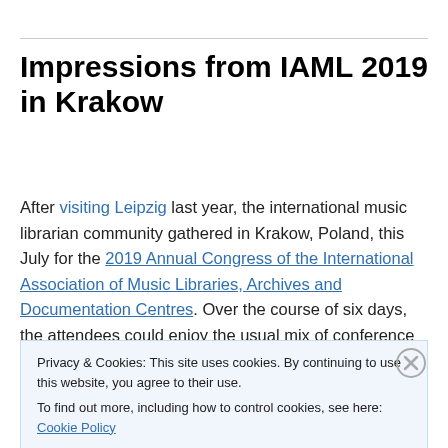Impressions from IAML 2019 in Krakow
After visiting Leipzig last year, the international music librarian community gathered in Krakow, Poland, this July for the 2019 Annual Congress of the International Association of Music Libraries, Archives and Documentation Centres. Over the course of six days, the attendees could enjoy the usual mix of conference
Privacy & Cookies: This site uses cookies. By continuing to use this website, you agree to their use.
To find out more, including how to control cookies, see here: Cookie Policy
Close and accept